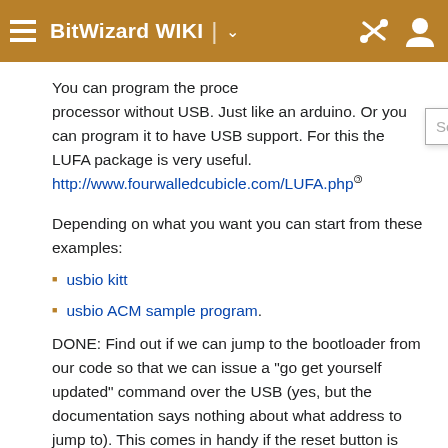BitWizard WIKI
You can program the processor without USB. Just like an arduino. Or you can program it to have USB support. For this the LUFA package is very useful. http://www.fourwalledcubicle.com/LUFA.php
Depending on what you want you can start from these examples:
usbio kitt
usbio ACM sample program.
DONE: Find out if we can jump to the bootloader from our code so that we can issue a "go get yourself updated" command over the USB (yes, but the documentation says nothing about what address to jump to). This comes in handy if the reset button is difficult to reach because the device is built-in somewhere. http://www.atmel.com/dyn/resources/prod_documents/doc7618.pdf